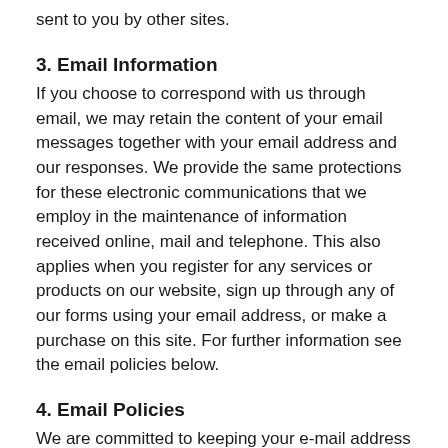sent to you by other sites.
3. Email Information
If you choose to correspond with us through email, we may retain the content of your email messages together with your email address and our responses. We provide the same protections for these electronic communications that we employ in the maintenance of information received online, mail and telephone. This also applies when you register for any services or products on our website, sign up through any of our forms using your email address, or make a purchase on this site. For further information see the email policies below.
4. Email Policies
We are committed to keeping your e-mail address confidential. We do not sell, rent, or lease our subscription lists to third parties, and we will not provide your personal information to any third-party individual, government agency, or company at any time unless strictly compelled to do so by law.